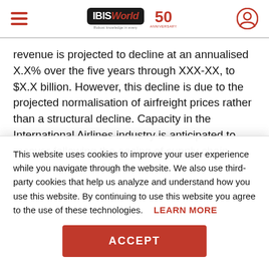IBISWorld 50th Anniversary
revenue is projected to decline at an annualised X.X% over the five years through XXX-XX, to $X.X billion. However, this decline is due to the projected normalisation of airfreight prices rather than a structural decline. Capacity in the International Airlines industry is anticipated to recover following the easing of supply chain disruptions caused by the
This website uses cookies to improve your user experience while you navigate through the website. We also use third-party cookies that help us analyze and understand how you use this website. By continuing to use this website you agree to the use of these technologies. LEARN MORE
ACCEPT